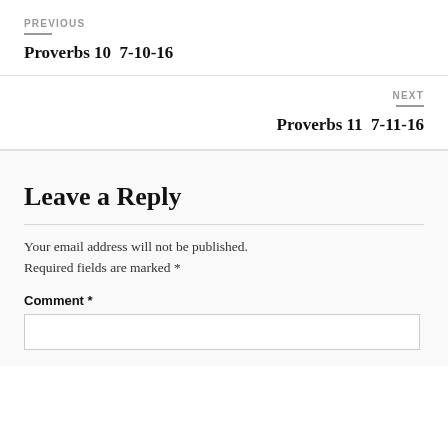PREVIOUS
Proverbs 10  7-10-16
NEXT
Proverbs 11  7-11-16
Leave a Reply
Your email address will not be published. Required fields are marked *
Comment *